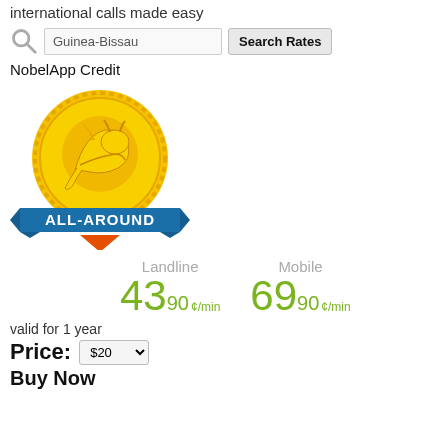international calls made easy
[Figure (illustration): Search icon (magnifying glass) and search input field with text 'Guinea-Bissau' and a 'Search Rates' button]
NobelApp Credit
[Figure (illustration): Gold coin badge with a dragon illustration and a blue ribbon banner reading 'ALL-AROUND']
Landline 43.90 ¢/min   Mobile 69.90 ¢/min
valid for 1 year
Price: $20 ▼
Buy Now